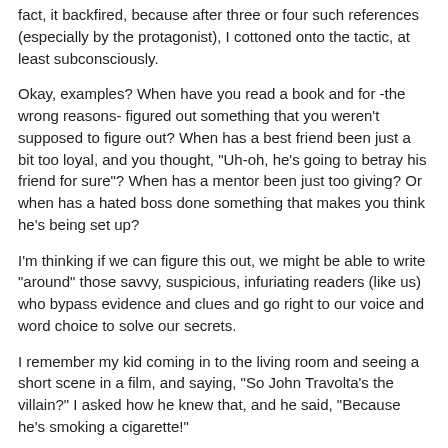fact, it backfired, because after three or four such references (especially by the protagonist), I cottoned onto the tactic, at least subconsciously.
Okay, examples? When have you read a book and for -the wrong reasons- figured out something that you weren't supposed to figure out? When has a best friend been just a bit too loyal, and you thought, "Uh-oh, he's going to betray his friend for sure"? When has a mentor been just too giving? Or when has a hated boss done something that makes you think he's being set up?
I'm thinking if we can figure this out, we might be able to write "around" those savvy, suspicious, infuriating readers (like us) who bypass evidence and clues and go right to our voice and word choice to solve our secrets.
I remember my kid coming in to the living room and seeing a short scene in a film, and saying, "So John Travolta's the villain?" I asked how he knew that, and he said, "Because he's smoking a cigarette!"